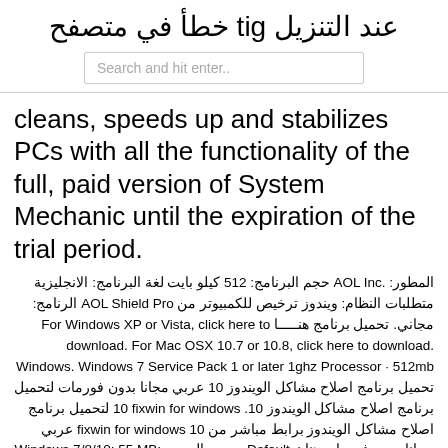عند التنزيل git خطأ في متصفح
Search and hit enter..
cleans, speeds up and stabilizes PCs with all the functionality of the full, paid version of System Mechanic until the expiration of the trial period.
المطور: AOL Inc. حجم البرنامج: 512 كيلو بايت لغة البرنامج: الانجليزية متطلبات النظام: ويندوز ترخيص للكمبيوتر من AOL Shield Pro الرنامج: مجاني. تحميل برنامج هنـــــا For Windows XP or Vista, click here to download. For Mac OSX 10.7 or 10.8, click here to download. Windows. Windows 7 Service Pack 1 or later 1ghz Processor · 512mb تحميل برنامج اصلاح مشاكل الويندوز 10 عربي مجانا بدون فورمات لتحميل برنامج اصلاح مشاكل الويندوز 10. 10 fixwin for windows لتحميل برنامج اصلاح مشاكل الويندوز برابط مباشر من fixwin for windows 10 عربي مجانا بدون فورمات هنا : Default. .مدون العربي Windows 7/8/10: 55 MB: RoboMind